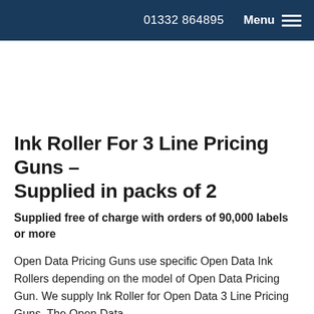01332 864895   Menu
Ink Roller For 3 Line Pricing Guns – Supplied in packs of 2
Supplied free of charge with orders of 90,000 labels or more
Open Data Pricing Guns use specific Open Data Ink Rollers depending on the model of Open Data Pricing Gun. We supply Ink Roller for Open Data 3 Line Pricing Guns. The Open Data